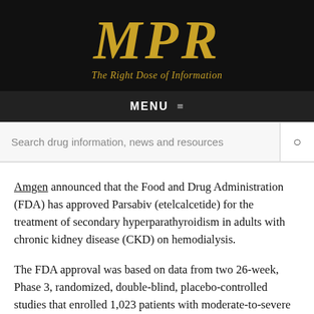MPR — The Right Dose of Information
MENU
Search drug information, news and resources
Amgen announced that the Food and Drug Administration (FDA) has approved Parsabiv (etelcalcetide) for the treatment of secondary hyperparathyroidism in adults with chronic kidney disease (CKD) on hemodialysis.
The FDA approval was based on data from two 26-week, Phase 3, randomized, double-blind, placebo-controlled studies that enrolled 1,023 patients with moderate-to-severe secondary hyperparathyroidism (parathyroid